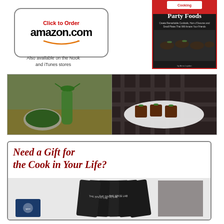[Figure (illustration): Amazon.com 'Click to Order' button with smile logo inside a rounded rectangle border]
Also available on the Nook and iTunes stores
[Figure (photo): Book cover: 'Party Foods - Create Remarkable Cocktails, Hors d'Oeuvres and Small Plates That Will Amaze Your Friends']
[Figure (photo): Two food photos side by side: left shows a green herb oil bottle and bowl, right shows small bacon-wrapped bites on a white plate]
[Figure (advertisement): Gift advertisement: 'Need a Gift for the Cook in Your Life?' in dark red italic text with a photo of spice/seasoning product packages below]